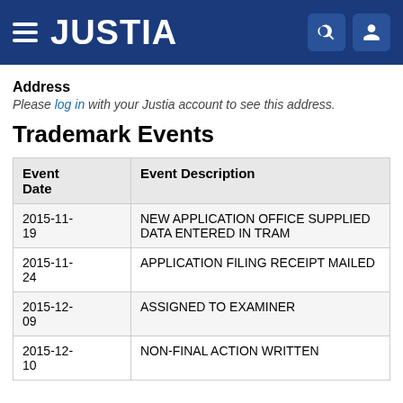JUSTIA
Address
Please log in with your Justia account to see this address.
Trademark Events
| Event Date | Event Description |
| --- | --- |
| 2015-11-19 | NEW APPLICATION OFFICE SUPPLIED DATA ENTERED IN TRAM |
| 2015-11-24 | APPLICATION FILING RECEIPT MAILED |
| 2015-12-09 | ASSIGNED TO EXAMINER |
| 2015-12-10 | NON-FINAL ACTION WRITTEN |